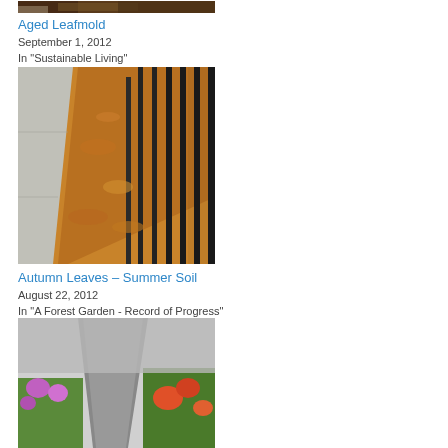[Figure (photo): Partial view of aged leafmold soil/compost, dark brown earthy material]
Aged Leafmold
September 1, 2012
In "Sustainable Living"
[Figure (photo): Autumn leaves piled along a sidewalk next to black metal fence bars]
Autumn Leaves – Summer Soil
August 22, 2012
In "A Forest Garden - Record of Progress"
[Figure (photo): Garden scene with what appears to be a path or mulched area, with flowers and plants on sides]